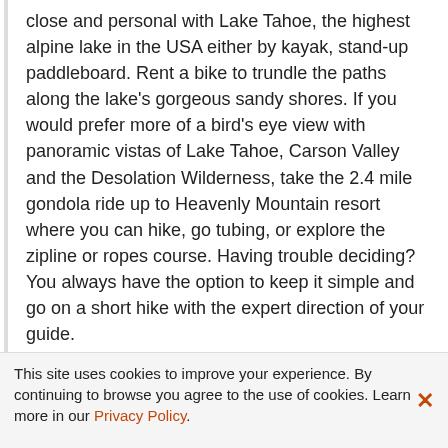close and personal with Lake Tahoe, the highest alpine lake in the USA either by kayak, stand-up paddleboard. Rent a bike to trundle the paths along the lake's gorgeous sandy shores. If you would prefer more of a bird's eye view with panoramic vistas of Lake Tahoe, Carson Valley and the Desolation Wilderness, take the 2.4 mile gondola ride up to Heavenly Mountain resort where you can hike, go tubing, or explore the zipline or ropes course. Having trouble deciding? You always have the option to keep it simple and go on a short hike with the expert direction of your guide.
Duration: 4 hour
Stop At: San Francisco
We'll wave goodbye to this natural playground as leave Lake Tahoe behind. On our way back to the city by the
This site uses cookies to improve your experience. By continuing to browse you agree to the use of cookies. Learn more in our Privacy Policy.